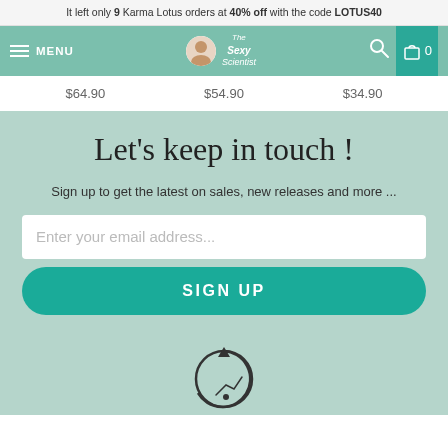It left only 9 Karma Lotus orders at 40% off with the code LOTUS40
[Figure (screenshot): Navigation bar with hamburger menu, MENU text, The Sexy Scientist logo, search icon, and cart icon with 0]
$64.90   $54.90   $34.90
Let's keep in touch !
Sign up to get the latest on sales, new releases and more ...
Enter your email address...
SIGN UP
[Figure (illustration): Circular arrow icon with airplane symbol at bottom of page]